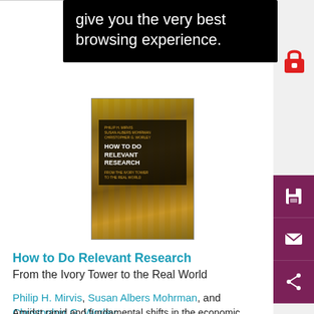give you the very best browsing experience.
[Figure (photo): Book cover of 'How to Do Relevant Research: From the Ivory Tower to the Real World' with a forest background]
How to Do Relevant Research
From the Ivory Tower to the Real World
Philip H. Mirvis, Susan Albers Mohrman, and Christopher G. Worley
Amidst rapid and fundamental shifts in the economic, geo-political, technological, and societal landscape, this cutting-edge book makes the timeless